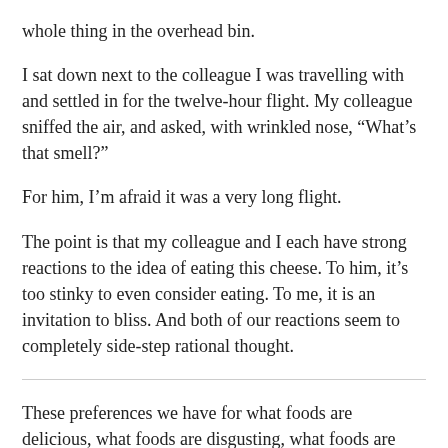whole thing in the overhead bin.
I sat down next to the colleague I was travelling with and settled in for the twelve-hour flight. My colleague sniffed the air, and asked, with wrinkled nose, “What’s that smell?”
For him, I’m afraid it was a very long flight.
The point is that my colleague and I each have strong reactions to the idea of eating this cheese. To him, it’s too stinky to even consider eating. To me, it is an invitation to bliss. And both of our reactions seem to completely side-step rational thought.
These preferences we have for what foods are delicious, what foods are disgusting, what foods are “clean”, and so forth — these preferences are very personal, and can be hard to overcome or to change. They are deep-seated.